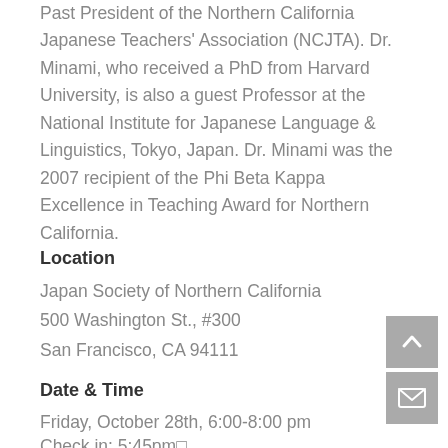Past President of the Northern California Japanese Teachers' Association (NCJTA). Dr. Minami, who received a PhD from Harvard University, is also a guest Professor at the National Institute for Japanese Language & Linguistics, Tokyo, Japan. Dr. Minami was the 2007 recipient of the Phi Beta Kappa Excellence in Teaching Award for Northern California.
Location
Japan Society of Northern California
500 Washington St., #300
San Francisco, CA 94111
Date & Time
Friday, October 28th, 6:00-8:00 pm
Check in: 5:45pm□